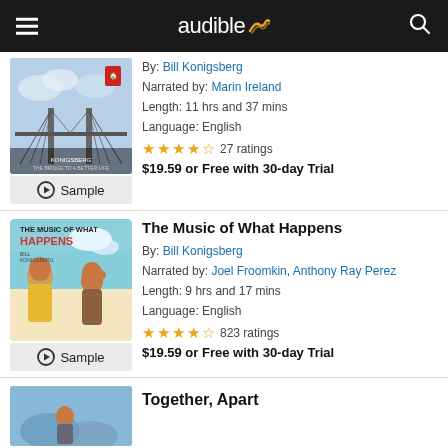audible
By: Bill Konigsberg
Narrated by: Marin Ireland
Length: 11 hrs and 37 mins
Language: English
★★★★☆ 27 ratings
$19.59 or Free with 30-day Trial
The Music of What Happens
By: Bill Konigsberg
Narrated by: Joel Froomkin, Anthony Ray Perez
Length: 9 hrs and 17 mins
Language: English
★★★★☆ 823 ratings
$19.59 or Free with 30-day Trial
Together, Apart